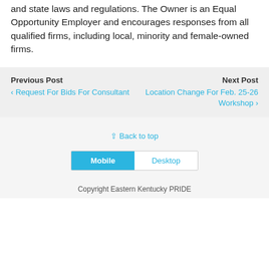and state laws and regulations. The Owner is an Equal Opportunity Employer and encourages responses from all qualified firms, including local, minority and female-owned firms.
Previous Post
‹ Request For Bids For Consultant
Next Post
Location Change For Feb. 25-26 Workshop ›
⇧ Back to top
Mobile | Desktop
Copyright Eastern Kentucky PRIDE